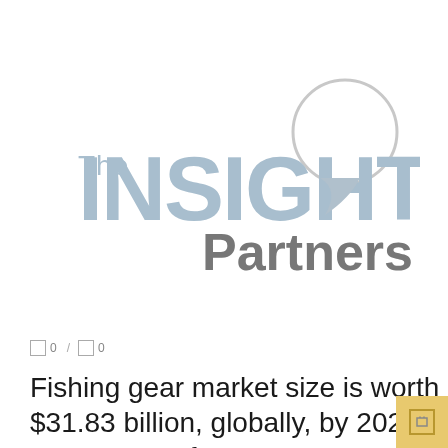[Figure (logo): The Insight Partners logo — light blue 'The INSIGHT' text with a speech bubble graphic, and grey 'Partners' text below]
0 / 0
Fishing gear market size is worth $31.83 billion, globally, by 2028 at a CAGR of 4.2%